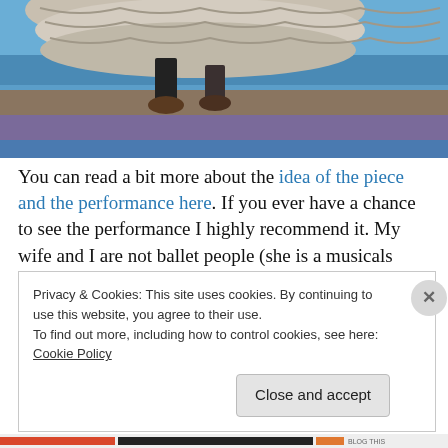[Figure (photo): Bottom portion of a flamenco dancer showing ruffled skirt and feet on a colorful blue and purple painted stage floor]
You can read a bit more about the idea of the piece and the performance here. If you ever have a chance to see the performance I highly recommend it. My wife and I are not ballet people (she is a musicals freak but that is another story), but this was really spectacular. Technically
Privacy & Cookies: This site uses cookies. By continuing to use this website, you agree to their use.
To find out more, including how to control cookies, see here: Cookie Policy
Close and accept